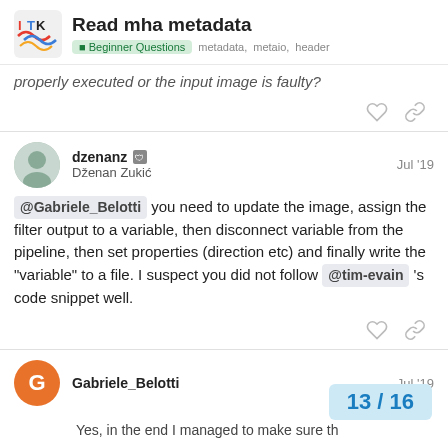Read mha metadata — Beginner Questions   metadata,   metaio,   header
properly executed or the input image is faulty?
dzenanz  Dženan Zukić  Jul '19
@Gabriele_Belotti you need to update the image, assign the filter output to a variable, then disconnect variable from the pipeline, then set properties (direction etc) and finally write the "variable" to a file. I suspect you did not follow @tim-evain 's code snippet well.
Gabriele_Belotti  Jul '19
Yes, in the end I managed to make sure th...
13 / 16